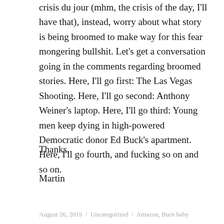crisis du jour (mhm, the crisis of the day, I'll have that), instead, worry about what story is being broomed to make way for this fear mongering bullshit. Let's get a conversation going in the comments regarding broomed stories. Here, I'll go first: The Las Vegas Shooting. Here, I'll go second: Anthony Weiner's laptop. Here, I'll go third: Young men keep dying in high-powered Democratic donor Ed Buck's apartment. Here, I'll go fourth, and fucking so on and so on.
Thanks,
Martin
August 26, 2019 / Uncategorized / Amazon, Burn baby